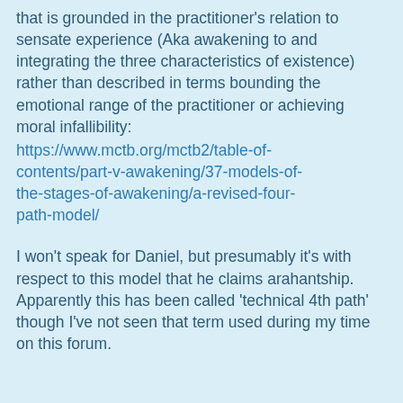that is grounded in the practitioner's relation to sensate experience (Aka awakening to and integrating the three characteristics of existence) rather than described in terms bounding the emotional range of the practitioner or achieving moral infallibility:
https://www.mctb.org/mctb2/table-of-contents/part-v-awakening/37-models-of-the-stages-of-awakening/a-revised-four-path-model/
I won't speak for Daniel, but presumably it's with respect to this model that he claims arahantship. Apparently this has been called 'technical 4th path' though I've not seen that term used during my time on this forum.